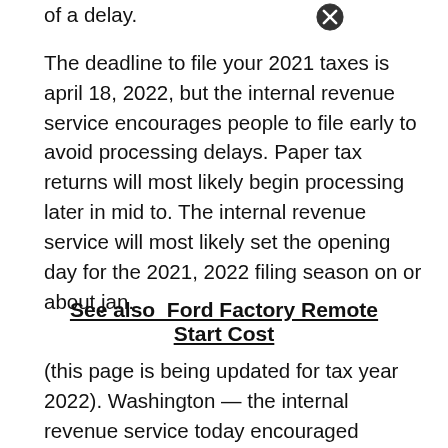of a delay.
The deadline to file your 2021 taxes is april 18, 2022, but the internal revenue service encourages people to file early to avoid processing delays. Paper tax returns will most likely begin processing later in mid to. The internal revenue service will most likely set the opening day for the 2021, 2022 filing season on or about jan.
See also  Ford Factory Remote Start Cost
(this page is being updated for tax year 2022). Washington — the internal revenue service today encouraged taxpayers to take important actions this month to help them file their federal tax